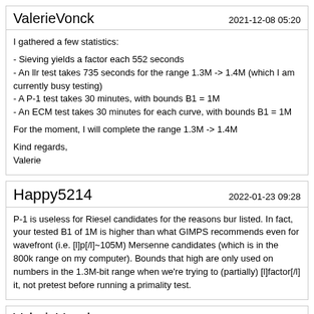ValerieVonck | 2021-12-08 05:20
I gathered a few statistics:
- Sieving yields a factor each 552 seconds
- An llr test takes 735 seconds for the range 1.3M -> 1.4M (which I am currently busy testing)
- A P-1 test takes 30 minutes, with bounds B1 = 1M
- An ECM test takes 30 minutes for each curve, with bounds B1 = 1M

For the moment, I will complete the range 1.3M -> 1.4M

Kind regards,
Valerie
Happy5214 | 2022-01-23 09:28
P-1 is useless for Riesel candidates for the reasons bur listed. In fact, your tested B1 of 1M is higher than what GIMPS recommends even for wavefront (i.e. [l]p[/l]~105M) Mersenne candidates (which is in the 800k range on my computer). Bounds that high are only used on numbers in the 1.3M-bit range when we're trying to (partially) [l]factor[/l] it, not pretest before running a primality test.
ValerieVonck | 2022-05-29 06:58